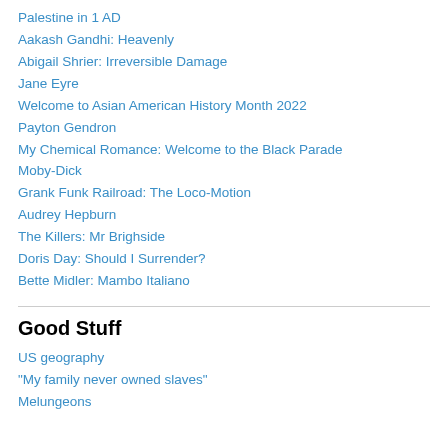Palestine in 1 AD
Aakash Gandhi: Heavenly
Abigail Shrier: Irreversible Damage
Jane Eyre
Welcome to Asian American History Month 2022
Payton Gendron
My Chemical Romance: Welcome to the Black Parade
Moby-Dick
Grank Funk Railroad: The Loco-Motion
Audrey Hepburn
The Killers: Mr Brighside
Doris Day: Should I Surrender?
Bette Midler: Mambo Italiano
Good Stuff
US geography
"My family never owned slaves"
Melungeons